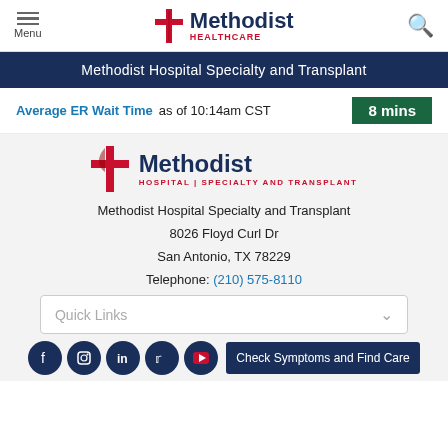[Figure (logo): Methodist Healthcare logo with cross icon in nav bar]
Methodist Hospital Specialty and Transplant
Average ER Wait Time as of 10:14am CST  8 mins
[Figure (logo): Methodist Hospital Specialty and Transplant logo]
Methodist Hospital Specialty and Transplant
8026 Floyd Curl Dr
San Antonio, TX 78229
Telephone: (210) 575-8110
Quick Links
Check Symptoms and Find Care